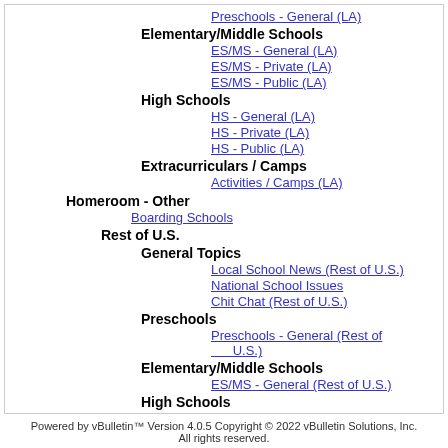Preschools - General (LA)
Elementary/Middle Schools
ES/MS - General (LA)
ES/MS - Private (LA)
ES/MS - Public (LA)
High Schools
HS - General (LA)
HS - Private (LA)
HS - Public (LA)
Extracurriculars / Camps
Activities / Camps (LA)
Homeroom - Other
Boarding Schools
Rest of U.S.
General Topics
Local School News (Rest of U.S.)
National School Issues
Chit Chat (Rest of U.S.)
Preschools
Preschools - General (Rest of U.S.)
Elementary/Middle Schools
ES/MS - General (Rest of U.S.)
High Schools
HS - General (Rest of U.S.)
Powered by vBulletin™ Version 4.0.5 Copyright © 2022 vBulletin Solutions, Inc. All rights reserved.